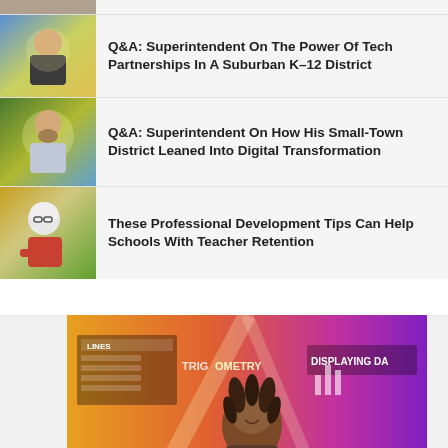[Figure (photo): Partial thumbnail at top, cropped]
Q&A: Superintendent On The Power Of Tech Partnerships In A Suburban K–12 District
[Figure (photo): Man speaking at event with colorful background]
Q&A: Superintendent On How His Small-Town District Leaned Into Digital Transformation
[Figure (photo): Woman with white hair and glasses leaning on desk]
These Professional Development Tips Can Help Schools With Teacher Retention
[Figure (photo): Young woman in front of educational display with text LINES, TRIGONOMETRY, DISPLAYING DATA]